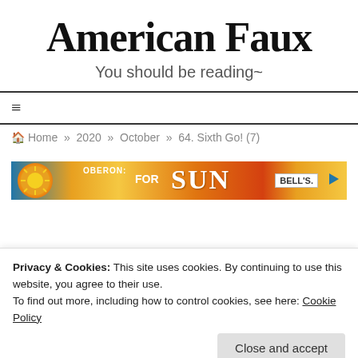American Faux
You should be reading~
≡
🏠 Home » 2020 » October » 64. Sixth Go! (7)
[Figure (infographic): Advertisement banner for Oberon beer by Bell's Brewery, showing colorful summer-themed imagery with text 'OBERON: FOR SUN']
Privacy & Cookies: This site uses cookies. By continuing to use this website, you agree to their use.
To find out more, including how to control cookies, see here: Cookie Policy
Close and accept
64. S